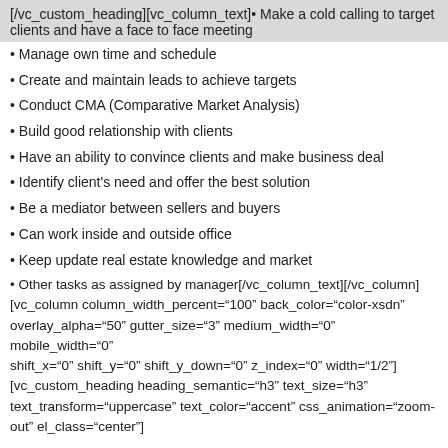[/vc_custom_heading][vc_column_text]• Make a cold calling to target clients and have a face to face meeting
• Manage own time and schedule
• Create and maintain leads to achieve targets
• Conduct CMA (Comparative Market Analysis)
• Build good relationship with clients
• Have an ability to convince clients and make business deal
• Identify client's need and offer the best solution
• Be a mediator between sellers and buyers
• Can work inside and outside office
• Keep update real estate knowledge and market
• Other tasks as assigned by manager[/vc_column_text][/vc_column] [vc_column column_width_percent="100" back_color="color-xsdn" overlay_alpha="50" gutter_size="3" medium_width="0" mobile_width="0" shift_x="0" shift_y="0" shift_y_down="0" z_index="0" width="1/2"] [vc_custom_heading heading_semantic="h3" text_size="h3" text_transform="uppercase" text_color="accent" css_animation="zoom-out" el_class="center"]
Job Requirements
[/vc_custom_heading][vc_column_text]• Bachelor Degree in Marketing or business management or related fields
• Experience in real estate industry is preferred